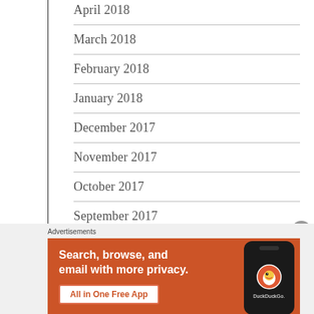April 2018
March 2018
February 2018
January 2018
December 2017
November 2017
October 2017
September 2017
Advertisements
[Figure (illustration): DuckDuckGo advertisement banner with orange background. Text reads: Search, browse, and email with more privacy. All in One Free App. Shows DuckDuckGo logo on a smartphone mockup.]